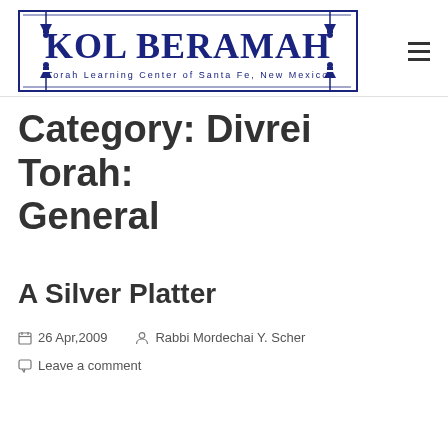[Figure (logo): Kol Beramah logo — Torah Learning Center of Santa Fe, New Mexico — dark blue ornate text with border and decorative finials, with hamburger menu icon]
Category: Divrei Torah: General
A Silver Platter
26 Apr,2009   Rabbi Mordechai Y. Scher
Leave a comment